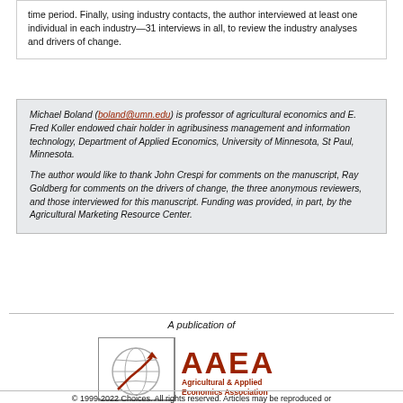time period. Finally, using industry contacts, the author interviewed at least one individual in each industry—31 interviews in all, to review the industry analyses and drivers of change.
Michael Boland (boland@umn.edu) is professor of agricultural economics and E. Fred Koller endowed chair holder in agribusiness management and information technology, Department of Applied Economics, University of Minnesota, St Paul, Minnesota.

The author would like to thank John Crespi for comments on the manuscript, Ray Goldberg for comments on the drivers of change, the three anonymous reviewers, and those interviewed for this manuscript. Funding was provided, in part, by the Agricultural Marketing Resource Center.
[Figure (logo): AAEA – Agricultural & Applied Economics Association logo with globe and upward arrow chart icon]
A publication of
© 1999-2022 Choices. All rights reserved. Articles may be reproduced or...